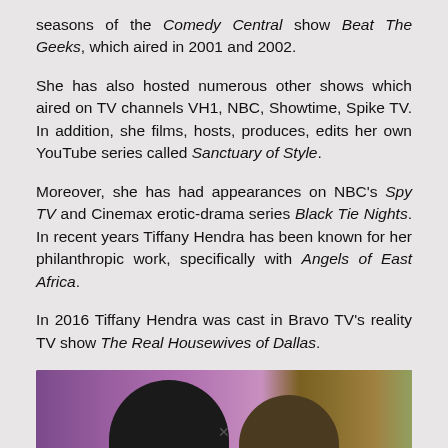seasons of the Comedy Central show Beat The Geeks, which aired in 2001 and 2002.
She has also hosted numerous other shows which aired on TV channels VH1, NBC, Showtime, Spike TV. In addition, she films, hosts, produces, edits her own YouTube series called Sanctuary of Style.
Moreover, she has had appearances on NBC's Spy TV and Cinemax erotic-drama series Black Tie Nights. In recent years Tiffany Hendra has been known for her philanthropic work, specifically with Angels of East Africa.
In 2016 Tiffany Hendra was cast in Bravo TV's reality TV show The Real Housewives of Dallas.
[Figure (photo): A photo showing two people (dark-haired woman on left, lighter-haired person on right) against a purple floral background.]